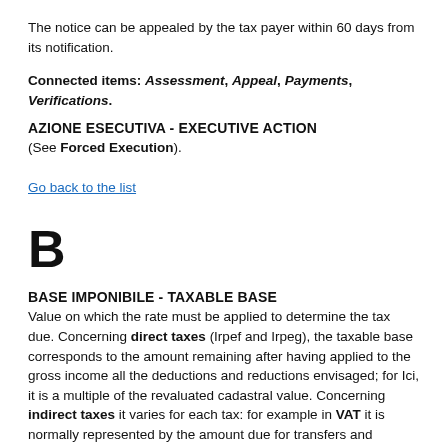The notice can be appealed by the tax payer within 60 days from its notification.
Connected items: Assessment, Appeal, Payments, Verifications.
AZIONE ESECUTIVA - EXECUTIVE ACTION
(See Forced Execution).
Go back to the list
B
BASE IMPONIBILE - TAXABLE BASE
Value on which the rate must be applied to determine the tax due. Concerning direct taxes (Irpef and Irpeg), the taxable base corresponds to the amount remaining after having applied to the gross income all the deductions and reductions envisaged; for Ici, it is a multiple of the revaluated cadastral value. Concerning indirect taxes it varies for each tax: for example in VAT it is normally represented by the amount due for transfers and provision of services, while in registration fee it is the value of the product or right.
BENE AD USO PROMISCUO - PRODUCT FOR MULTIPLE PURPOSES